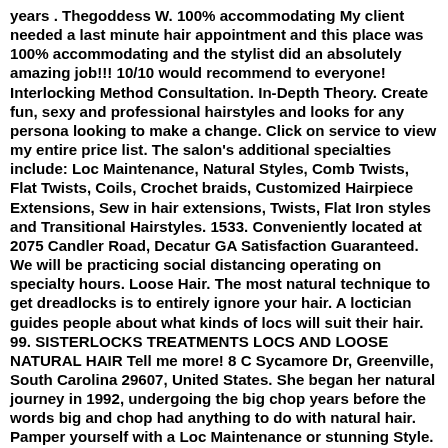years . Thegoddess W. 100% accommodating My client needed a last minute hair appointment and this place was 100% accommodating and the stylist did an absolutely amazing job!!! 10/10 would recommend to everyone! Interlocking Method Consultation. In-Depth Theory. Create fun, sexy and professional hairstyles and looks for any persona looking to make a change. Click on service to view my entire price list. The salon's additional specialties include: Loc Maintenance, Natural Styles, Comb Twists, Flat Twists, Coils, Crochet braids, Customized Hairpiece Extensions, Sew in hair extensions, Twists, Flat Iron styles and Transitional Hairstyles. 1533. Conveniently located at 2075 Candler Road, Decatur GA Satisfaction Guaranteed. We will be practicing social distancing operating on specialty hours. Loose Hair. The most natural technique to get dreadlocks is to entirely ignore your hair. A loctician guides people about what kinds of locs will suit their hair. 99. SISTERLOCKS TREATMENTS LOCS AND LOOSE NATURAL HAIR Tell me more! 8 C Sycamore Dr, Greenville, South Carolina 29607, United States. She began her natural journey in 1992, undergoing the big chop years before the words big and chop had anything to do with natural hair. Pamper yourself with a Loc Maintenance or stunning Style. $50. Organic Roots convey diversity, creativity J'Vionnes Natural Hair Salon help women, men and children, grow and maintain and understand their natural coils, treatments,